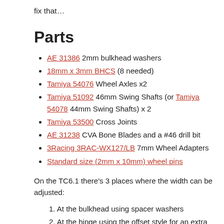fix that…
Parts
AE 31386 2mm bulkhead washers
18mm x 3mm BHCS (8 needed)
Tamiya 54076 Wheel Axles x2
Tamiya 51092 46mm Swing Shafts (or Tamiya 54078 44mm Swing Shafts) x 2
Tamiya 53500 Cross Joints
AE 31238 CVA Bone Blades and a #46 drill bit
3Racing 3RAC-WX127/LB 7mm Wheel Adapters
Standard size (2mm x 10mm) wheel pins
On the TC6.1 there's 3 places where the width can be adjusted:
1. At the bulkhead using spacer washers
2. At the hinge using the offset style for an extra